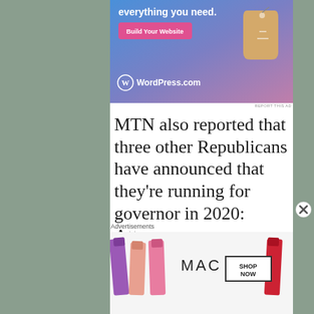[Figure (screenshot): WordPress.com advertisement banner with gradient blue-to-purple background, price tag illustration, 'everything you need.' text, pink 'Build Your Website' button, and WordPress.com logo]
REPORT THIS AD
MTN also reported that three other Republicans have announced that they're running for governor in 2020: Attorney
Advertisements
[Figure (screenshot): MAC cosmetics advertisement showing lipsticks and MAC logo with 'SHOP NOW' button]